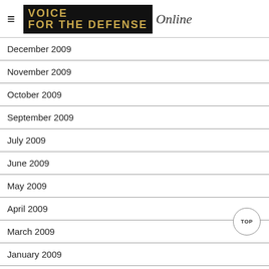VOICE Online
December 2009
November 2009
October 2009
September 2009
July 2009
June 2009
May 2009
April 2009
March 2009
January 2009
December 2008
November 2008